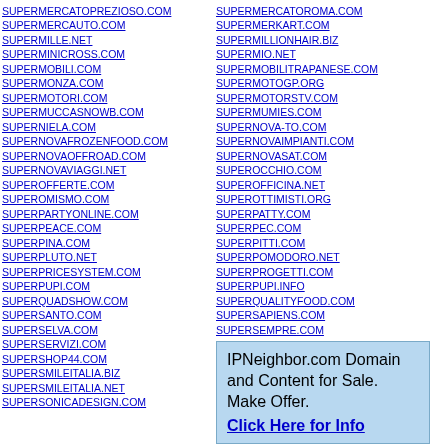SUPERMERCATOPREZIOSO.COM
SUPERMERCAUTO.COM
SUPERMILLE.NET
SUPERMINICROSS.COM
SUPERMOBILI.COM
SUPERMONZA.COM
SUPERMOTORI.COM
SUPERMUCCASNOWB.COM
SUPERNIELA.COM
SUPERNOVAFROZENFOOD.COM
SUPERNOVAOFFROAD.COM
SUPERNOVAVIAGGI.NET
SUPEROFFERTE.COM
SUPEROMISMO.COM
SUPERPARTYONLINE.COM
SUPERPEACE.COM
SUPERPINA.COM
SUPERPLUTO.NET
SUPERPRICESYSTEM.COM
SUPERPUPI.COM
SUPERQUADSHOW.COM
SUPERSANTO.COM
SUPERSELVA.COM
SUPERSERVIZI.COM
SUPERSHOP44.COM
SUPERSMILEITALIA.BIZ
SUPERSMILEITALIA.NET
SUPERSONICADESIGN.COM
SUPERMERCATOROMA.COM
SUPERMERKART.COM
SUPERMILLIONHAIR.BIZ
SUPERMIO.NET
SUPERMOBILITRAPANESE.COM
SUPERMOTOGP.ORG
SUPERMOTORSTV.COM
SUPERMUMIES.COM
SUPERNOVA-TO.COM
SUPERNOVAIMPIANTI.COM
SUPERNOVASAT.COM
SUPEROCCHIO.COM
SUPEROFFICINA.NET
SUPEROTTIMISTI.ORG
SUPERPATTY.COM
SUPERPEC.COM
SUPERPITTI.COM
SUPERPOMODORO.NET
SUPERPROGETTI.COM
SUPERPUPI.INFO
SUPERQUALITYFOOD.COM
SUPERSAPIENS.COM
SUPERSEMPRE.COM
IPNeighbor.com Domain and Content for Sale. Make Offer. Click Here for Info